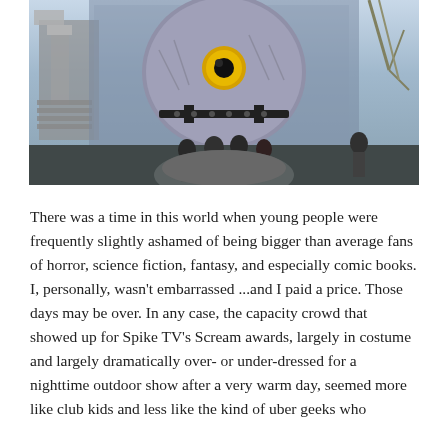[Figure (photo): A large monster or creature prop/statue with a big round head, yellow eye, and dark straps, surrounded by sci-fi/fantasy themed structures and trees. People are standing in front of it, likely at a theme park or outdoor event venue.]
There was a time in this world when young people were frequently slightly ashamed of being bigger than average fans of horror, science fiction, fantasy, and especially comic books. I, personally, wasn't embarrassed ...and I paid a price. Those days may be over. In any case, the capacity crowd that showed up for Spike TV's Scream awards, largely in costume and largely dramatically over- or under-dressed for a nighttime outdoor show after a very warm day, seemed more like club kids and less like the kind of uber geeks who